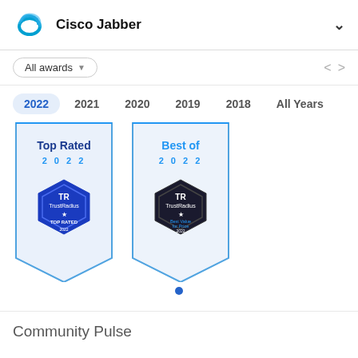Cisco Jabber
All awards
2022  2021  2020  2019  2018  All Years
[Figure (illustration): Two award banners: 'Top Rated 2022' and 'Best of 2022' from TrustRadius, displayed as pennant-shaped cards with hexagonal badge logos]
Community Pulse